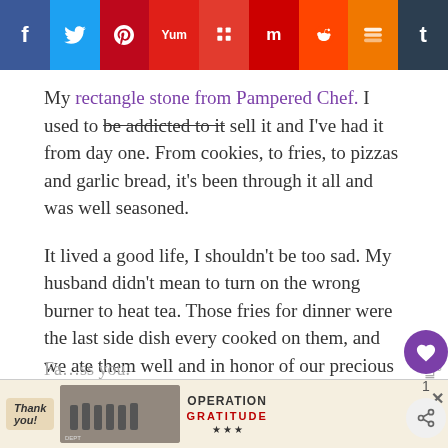[Figure (screenshot): Social media share bar with icons for Facebook, Twitter, Pinterest, Yummly, Flipboard, Mix, Reddit, Buffer/Layers, and Tumblr]
My rectangle stone from Pampered Chef. I used to be addicted to it sell it and I've had it from day one. From cookies, to fries, to pizzas and garlic bread, it's been through it all and was well seasoned.
It lived a good life, I shouldn't be too sad. My husband didn't mean to turn on the wrong burner to heat tea. Those fries for dinner were the last side dish every cooked on them, and we ate them well and in honor of our precious friend taken from us too soon.
[Figure (screenshot): Advertisement banner: Operation Gratitude with thank you firefighters image, with X close button]